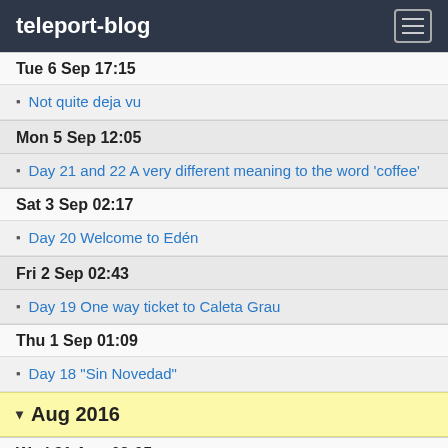teleport-blog
Tue 6 Sep 17:15
Not quite deja vu
Mon 5 Sep 12:05
Day 21 and 22 A very different meaning to the word 'coffee'
Sat 3 Sep 02:17
Day 20 Welcome to Edén
Fri 2 Sep 02:43
Day 19 One way ticket to Caleta Grau
Thu 1 Sep 01:09
Day 18 "Sin Novedad"
Aug 2016
Wed 31 Aug 02:05
Day 17 To Caleta Refugio where Franco goes swimming
Sun 28 Aug 01:55
Day 14 Lack of moral fibre (but plenty of tree fibre)